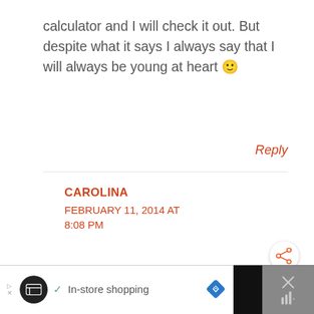calculator and I will check it out. But despite what it says I always say that I will always be young at heart 🙂
Reply
CAROLINA
FEBRUARY 11, 2014 AT 8:08 PM
[Figure (screenshot): Ad bar at bottom: black background with white section containing a circular icon, checkmark, 'In-store shopping' text, a blue diamond navigation icon, and a grey close area with X icon]
[Figure (other): Share button: circular white button with orange share icon]